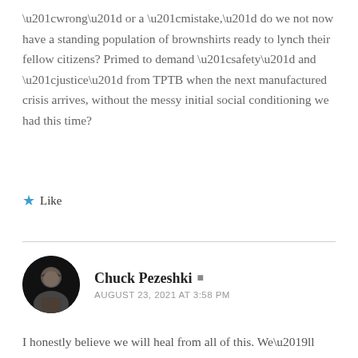“wrong” or a “mistake,” do we not now have a standing population of brownshirts ready to lynch their fellow citizens? Primed to demand “safety” and “justice” from TPTB when the next manufactured crisis arrives, without the messy initial social conditioning we had this time?
Like
Chuck Pezeshki
AUGUST 23, 2021 AT 3:58 PM
I honestly believe we will heal from all of this. We’ll still have enough wealth, and the